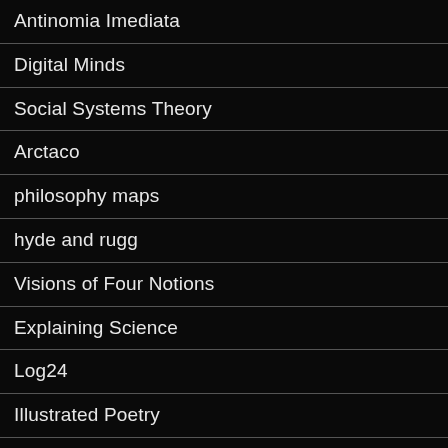Antinomia Imediata
Digital Minds
Social Systems Theory
Arctaco
philosophy maps
hyde and rugg
Visions of Four Notions
Explaining Science
Log24
Illustrated Poetry
Ideas Without End
Quadralectic Architecture
Minds and Brains